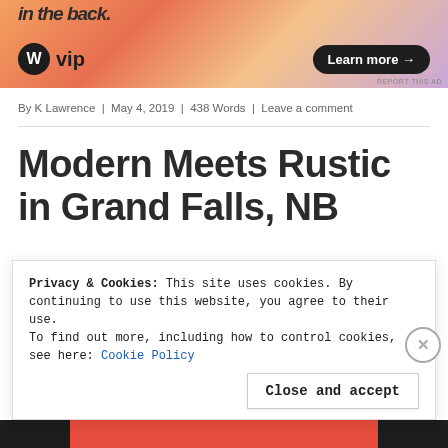[Figure (screenshot): WordPress VIP advertisement banner with orange-pink gradient background, WordPress 'W' circle logo, 'vip' text, and 'Learn more →' button. Partial bold italic text visible at top.]
By K Lawrence | May 4, 2019 | 438 Words | Leave a comment
Modern Meets Rustic in Grand Falls, NB
Privacy & Cookies: This site uses cookies. By continuing to use this website, you agree to their use.
To find out more, including how to control cookies, see here: Cookie Policy
Close and accept